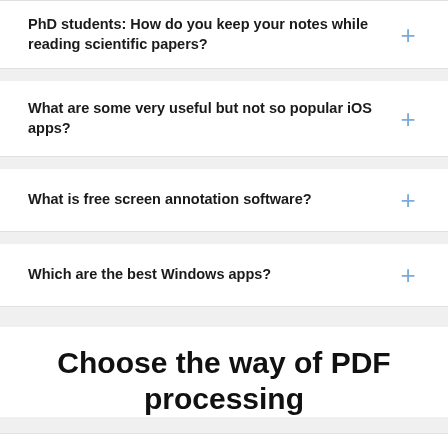PhD students: How do you keep your notes while reading scientific papers?
What are some very useful but not so popular iOS apps?
What is free screen annotation software?
Which are the best Windows apps?
Choose the way of PDF processing
CONVERT & COMPRESS